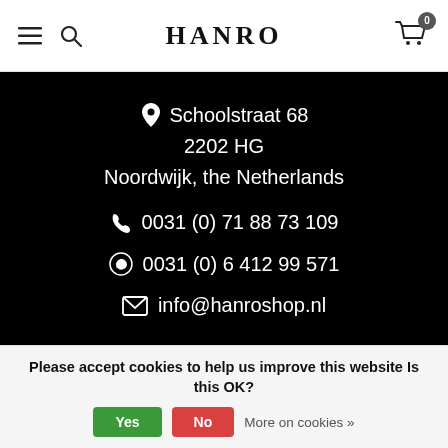HANRO
Schoolstraat 68
2202 HG
Noordwijk, the Netherlands
0031 (0) 71 88 73 109
0031 (0) 6 412 99 571
info@hanroshop.nl
Please accept cookies to help us improve this website Is this OK?  Yes  No  More on cookies »